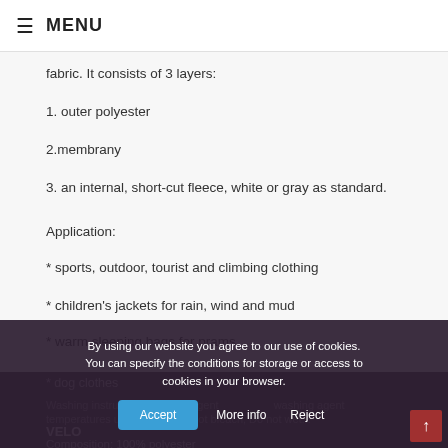≡ MENU
fabric. It consists of 3 layers:
1. outer polyester
2.membrany
3. an internal, short-cut fleece, white or gray as standard.
Application:
* sports, outdoor, tourist and climbing clothing
* children's jackets for rain, wind and mud
* warm sleeping bags for prams
* dog clothes
Washing instruction: washing agent temperatures up to 30 °С, Do not bleach, Do not wet...
VELO
Composition: 100% polyester
Digital print
By using our website you agree to our use of cookies. You can specify the conditions for storage or access to cookies in your browser.